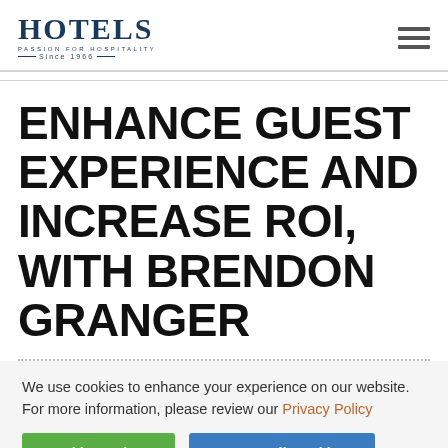HOTELS PASSION FOR HOSPITALITY SINCE 1966
ENHANCE GUEST EXPERIENCE AND INCREASE ROI, WITH BRENDON GRANGER
We use cookies to enhance your experience on our website. For more information, please review our Privacy Policy